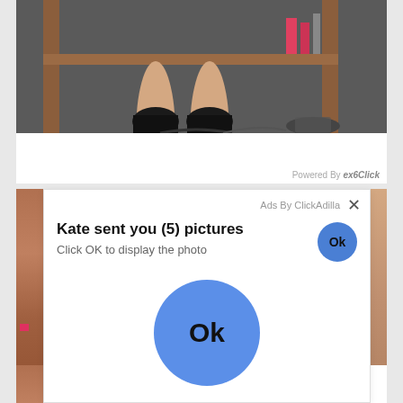[Figure (photo): Partial photo showing legs in black heels near wooden shelving unit, items on shelves in background, dark carpet floor]
Powered By exoClick
[Figure (screenshot): Ad overlay popup: 'Ads By ClickAdilla' with X close button, title 'Kate sent you (5) pictures', subtitle 'Click OK to display the photo', small blue Ok button top right, large blue Ok button centered below]
[Figure (photo): Partial photos visible on left and right sides behind the ad overlay, and partial text 'Re' and 'Po' visible at bottom left]